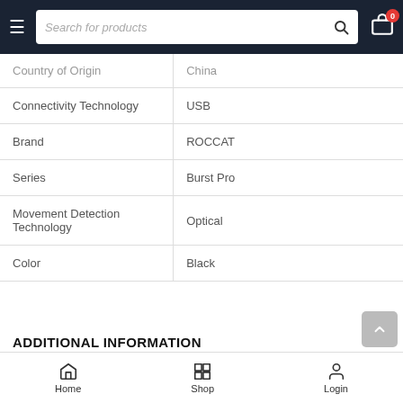Search for products
| Property | Value |
| --- | --- |
| Country of Origin | China |
| Connectivity Technology | USB |
| Brand | ROCCAT |
| Series | Burst Pro |
| Movement Detection Technology | Optical |
| Color | Black |
ADDITIONAL INFORMATION
Home  Shop  Login